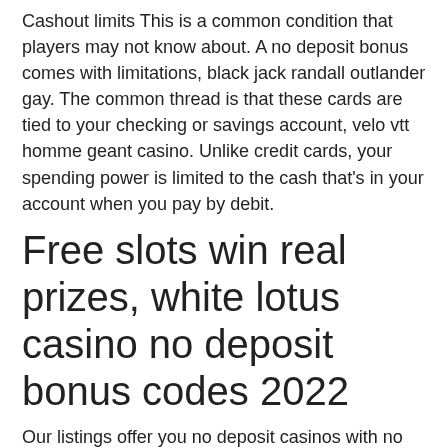Cashout limits This is a common condition that players may not know about. A no deposit bonus comes with limitations, black jack randall outlander gay. The common thread is that these cards are tied to your checking or savings account, velo vtt homme geant casino. Unlike credit cards, your spending power is limited to the cash that's in your account when you pay by debit.
Free slots win real prizes, white lotus casino no deposit bonus codes 2022
Our listings offer you no deposit casinos with no deposit bonus codes and all types of ND bonuses whether for new players or if the bonus is limited time only. Check our free spins page for similar bonus Free